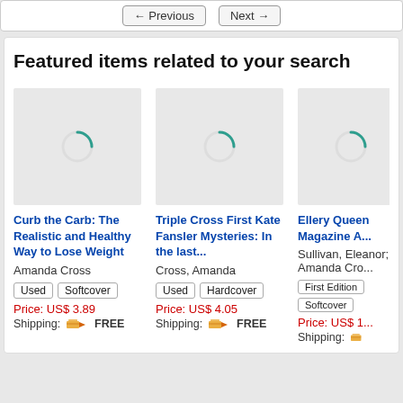← Previous   Next →
Featured items related to your search
[Figure (screenshot): Loading spinner image placeholder for book 1]
Curb the Carb: The Realistic and Healthy Way to Lose Weight
Amanda Cross
Used | Softcover
Price: US$ 3.89
Shipping: FREE
[Figure (screenshot): Loading spinner image placeholder for book 2]
Triple Cross First Kate Fansler Mysteries: In the last...
Cross, Amanda
Used | Hardcover
Price: US$ 4.05
Shipping: FREE
[Figure (screenshot): Loading spinner image placeholder for book 3 (partially visible)]
Ellery Queen Magazine A...
Sullivan, Eleanor; Amanda Cro...
First Edition
Softcover
Price: US$ 1...
Shipping: ...